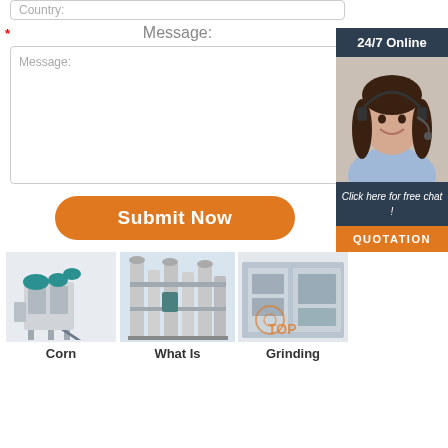Country:
*
Message:
Message:
[Figure (screenshot): 24/7 Online customer support agent widget with a smiling woman wearing a headset, dark navy banner saying '24/7 Online', another banner 'Click here for free chat!', and an orange QUOTATION button]
Submit Now
[Figure (photo): Corn processing/milling machine - industrial grain cleaning and processing equipment in grey/teal]
Corn
[Figure (photo): What Is - tall industrial flour/grain milling line equipment, vertical towers and conveyors]
What Is
[Figure (photo): Grinding - industrial grinding mill facility interior with equipment and orange TOP watermark]
Grinding